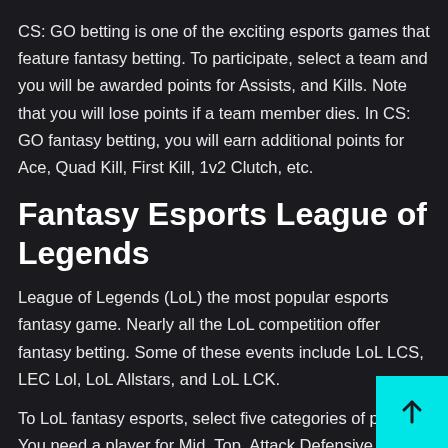CS: GO betting is one of the exciting esports games that feature fantasy betting. To participate, select a team and you will be awarded points for Assists, and Kills. Note that you will lose points if a team member dies. In CS: GO fantasy betting, you will earn additional points for Ace, Quad Kill, First Kill, 1v2 Clutch, etc.
Fantasy Esports League of Legends
League of Legends (LoL) the most popular esports fantasy game. Nearly all the LoL competition offer fantasy betting. Some of these events include LoL LCS, LEC Lol, LoL Allstars, and LoL LCK.
To LoL fantasy esports, select five categories of pla… You need a player for Mid, Top, Attack Defensive Carry,